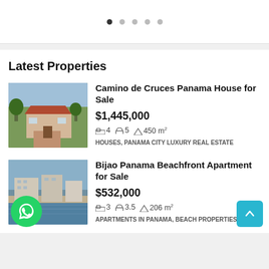Latest Properties
Camino de Cruces Panama House for Sale
$1,445,000
4 beds  5 baths  450 m²
HOUSES, PANAMA CITY LUXURY REAL ESTATE
Bijao Panama Beachfront Apartment for Sale
$532,000
3 beds  3.5 baths  206 m²
APARTMENTS IN PANAMA, BEACH PROPERTIES